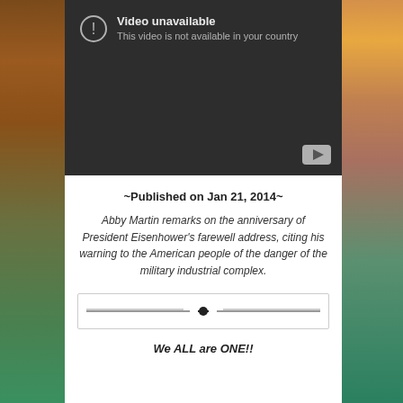[Figure (screenshot): YouTube video unavailable screen with dark background. Shows error icon, text 'Video unavailable' and 'This video is not available in your country', with YouTube play button in bottom right corner.]
~Published on Jan 21, 2014~
Abby Martin remarks on the anniversary of President Eisenhower's farewell address, citing his warning to the American people of the danger of the military industrial complex.
[Figure (illustration): Decorative horizontal divider with ornamental line and centered dot/bullet design]
We ALL are ONE!!